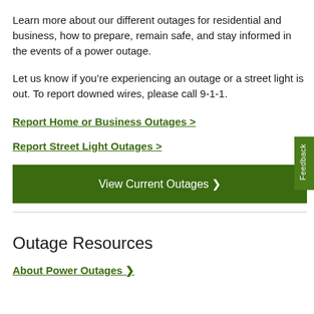Learn more about our different outages for residential and business, how to prepare, remain safe, and stay informed in the events of a power outage.
Let us know if you’re experiencing an outage or a street light is out. To report downed wires, please call 9-1-1.
Report Home or Business Outages >
Report Street Light Outages >
View Current Outages ›
Outage Resources
About Power Outages ›